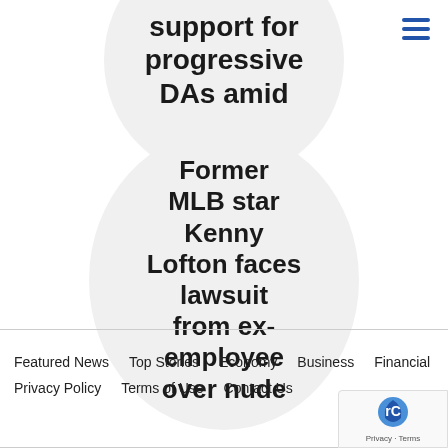[Figure (illustration): Circle graphic (partially cropped at top) with bold headline text: 'support for progressive DAs amid']
[Figure (illustration): Circle graphic with bold headline text: 'Former MLB star Kenny Lofton faces lawsuit from ex-employee over nude']
[Figure (illustration): Hamburger menu icon (three horizontal blue lines) in top-right corner]
Featured News   Top Stories   Economy   Business   Financial   Privacy Policy   Terms of Use   Contact Us